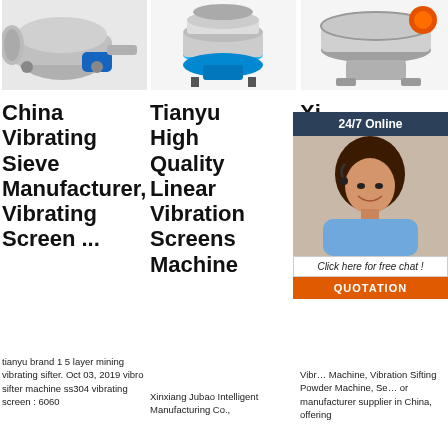[Figure (photo): Industrial vibrating sieve machine, grey metal body with blue motor]
[Figure (photo): Tianyu linear vibration screen machine with blue base]
[Figure (photo): Round vibrating sifter machine with orange motor, stainless steel]
[Figure (photo): 24/7 Online chat overlay with female customer service agent]
China Vibrating Sieve Manufacturer, Vibrating Screen ...
Tianyu High Quality Linear Vibration Screens Machine
Xi... Ju... In... M... Co...
tianyu brand 1 5 layer mining vibrating sifter. Oct 03, 2019 vibro sifter machine ss304 vibrating screen : 6060
Xinxiang Jubao Intelligent Manufacturing Co.,
Vibr... Machine, Vibration Sifting Powder Machine, Se... or manufacturer supplier in China, offering